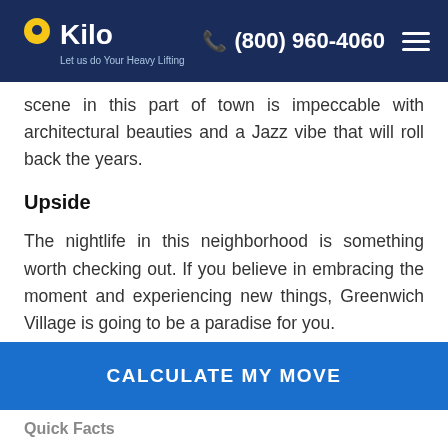Kilo — Let us do Your Heavy Lifting | (800) 960-4060
scene in this part of town is impeccable with architectural beauties and a Jazz vibe that will roll back the years.
Upside
The nightlife in this neighborhood is something worth checking out. If you believe in embracing the moment and experiencing new things, Greenwich Village is going to be a paradise for you.
Downside
The high home prices here don't make it easy for
CALCULATE MY MOVE
Quick Facts